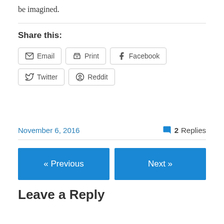be imagined.
Share this:
Email  Print  Facebook  Twitter  Reddit
November 6, 2016
2 Replies
« Previous
Next »
Leave a Reply